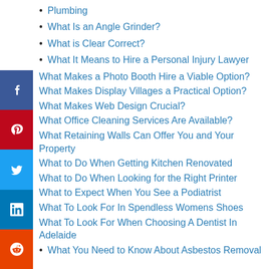Plumbing
What Is an Angle Grinder?
What is Clear Correct?
What It Means to Hire a Personal Injury Lawyer
What Makes a Photo Booth Hire a Viable Option?
What Makes Display Villages a Practical Option?
What Makes Web Design Crucial?
What Office Cleaning Services Are Available?
What Retaining Walls Can Offer You and Your Property
What to Do When Getting Kitchen Renovated
What to Do When Looking for the Right Printer
What to Expect When You See a Podiatrist
What To Look For In Spendless Womens Shoes
What To Look For When Choosing A Dentist In Adelaide
What You Need to Know About Asbestos Removal